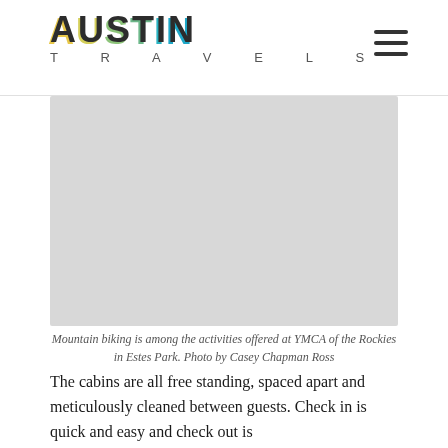[Figure (logo): Austin Travels logo with multi-color letter shadows and hamburger menu icon]
[Figure (photo): Gray placeholder image representing mountain biking at YMCA of the Rockies in Estes Park]
Mountain biking is among the activities offered at YMCA of the Rockies in Estes Park. Photo by Casey Chapman Ross
The cabins are all free standing, spaced apart and meticulously cleaned between guests. Check in is quick and easy and check out is